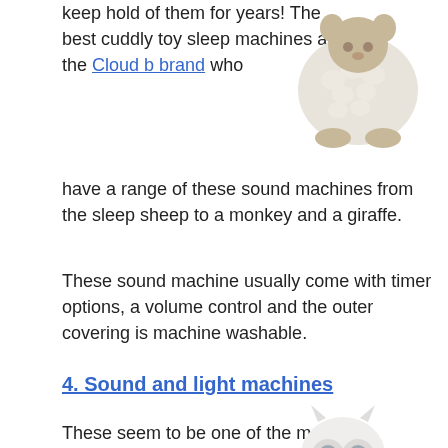keep hold of them for years! The best cuddly toy sleep machines are the Cloud b brand who have a range of these sound machines from the sleep sheep to a monkey and a giraffe.
[Figure (photo): A plush stuffed animal sleep machine toy, white and beige colored, resembling a sheep or bear, sitting position.]
These sound machine usually come with timer options, a volume control and the outer covering is machine washable.
4. Sound and light machines
These seem to be one of the most common types of sleep machines for
[Figure (photo): A white owl-shaped sound and light machine sitting on a small wooden surface, with simple facial features.]